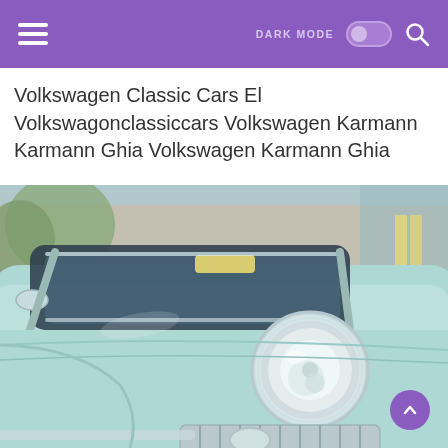DARK MODE [toggle] [search]
Volkswagen Classic Cars El Volkswagonclassiccars Volkswagen Karmann Karmann Ghia Volkswagen Karmann Ghia
[Figure (photo): Close-up photo of a light blue/mint Volkswagen Karmann Ghia classic car, showing the front headlight, hood, windshield and chrome details, photographed outdoors with trees in the background]